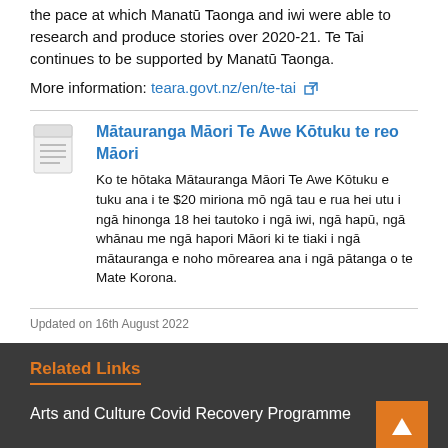the pace at which Manatū Taonga and iwi were able to research and produce stories over 2020-21. Te Tai continues to be supported by Manatū Taonga.
More information: teara.govt.nz/en/te-tai
Mātauranga Māori Te Awe Kōtuku te reo Māori
Ko te hōtaka Mātauranga Māori Te Awe Kōtuku e tuku ana i te $20 miriona mō ngā tau e rua hei utu i ngā hinonga 18 hei tautoko i ngā iwi, ngā hapū, ngā whānau me ngā hapori Māori ki te tiaki i ngā mātauranga e noho mōrearea ana i ngā pātanga o te Mate Korona.
Updated on 16th August 2022
Related Links
Arts and Culture Covid Recovery Programme